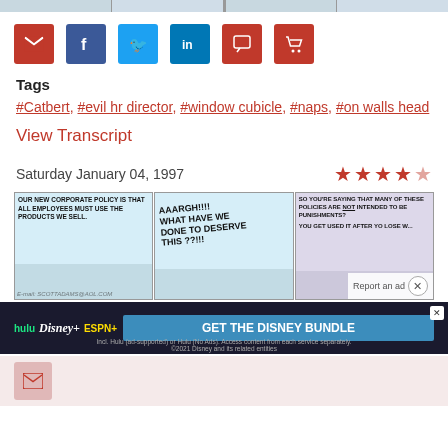[Figure (illustration): Top strip of comic panels partially visible]
[Figure (infographic): Social sharing buttons: email (red), facebook (dark blue), twitter (blue), linkedin (blue), comment (red), cart (red)]
Tags
#Catbert, #evil hr director, #window cubicle, #naps, #on walls head
View Transcript
Saturday January 04, 1997
[Figure (illustration): Star rating: 4 out of 5 red stars]
[Figure (illustration): Dilbert comic strip from January 04, 1997. Three panels: Panel 1 - character says OUR NEW CORPORATE POLICY IS THAT ALL EMPLOYEES MUST USE THE PRODUCTS WE SELL. Panel 2 - character yells AAARGH!!!! WHAT HAVE WE DONE TO DESERVE THIS ??!!! Panel 3 - character says SO YOU'RE SAYING THAT MANY OF THESE POLICIES ARE NOT INTENDED TO BE PUNISHMENTS? YOU GET USED IT AFTER YO LOSE W... (text cut off). Ad overlay with Report an ad text and close button.]
[Figure (infographic): Disney Bundle advertisement banner: hulu Disney+ ESPN+ GET THE DISNEY BUNDLE. Incl. Hulu (ad-supported) or Hulu (No Ads). Access content from each service separately. ©2021 Disney and its related entities]
[Figure (infographic): Bottom social sharing buttons row, partially visible]